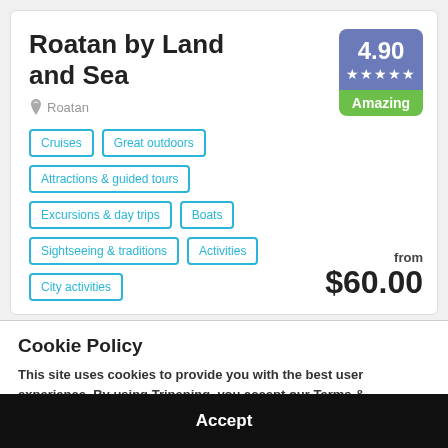Roatan by Land and Sea
Roatan
Cruises
Great outdoors
Attractions & guided tours
Excursions & day trips
Boats
Sightseeing & traditions
Activities
City activities
[Figure (other): Rating badge showing 4.90, five stars, and 'Amazing' label in green]
from $60.00
Cookie Policy
This site uses cookies to provide you with the best user experience. By using Tripening, you accept our Terms & Conditions and Privacy Policy.
Accept